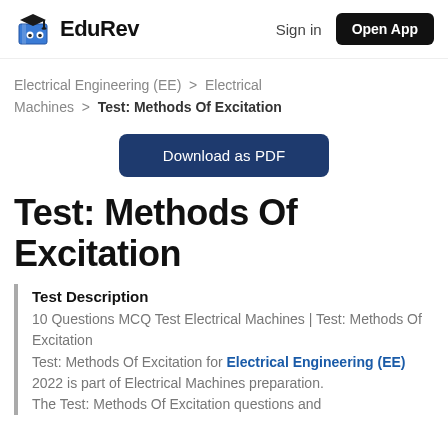EduRev | Sign in | Open App
Electrical Engineering (EE) > Electrical Machines > Test: Methods Of Excitation
Download as PDF
Test: Methods Of Excitation
Test Description
10 Questions MCQ Test Electrical Machines | Test: Methods Of Excitation
Test: Methods Of Excitation for Electrical Engineering (EE) 2022 is part of Electrical Machines preparation. The Test: Methods Of Excitation questions and